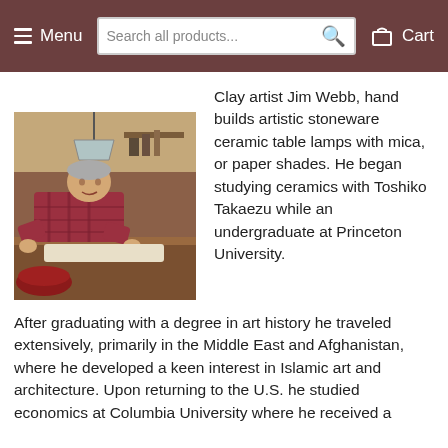Menu | Search all products... | Cart
[Figure (photo): A man in a plaid shirt working with clay or ceramics in a studio workshop, bending over a work surface with hanging pots and tools visible in the background.]
Clay artist Jim Webb, hand builds artistic stoneware ceramic table lamps with mica, or paper shades. He began studying ceramics with Toshiko Takaezu while an undergraduate at Princeton University.
After graduating with a degree in art history he traveled extensively, primarily in the Middle East and Afghanistan, where he developed a keen interest in Islamic art and architecture. Upon returning to the U.S. he studied economics at Columbia University where he received a